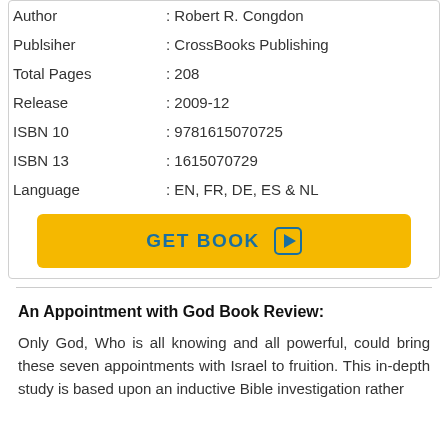| Author | : Robert R. Congdon |
| Publsiher | : CrossBooks Publishing |
| Total Pages | : 208 |
| Release | : 2009-12 |
| ISBN 10 | : 9781615070725 |
| ISBN 13 | : 1615070729 |
| Language | : EN, FR, DE, ES & NL |
[Figure (other): GET BOOK button with play arrow icon, yellow background, teal text]
An Appointment with God Book Review:
Only God, Who is all knowing and all powerful, could bring these seven appointments with Israel to fruition. This in-depth study is based upon an inductive Bible investigation rather